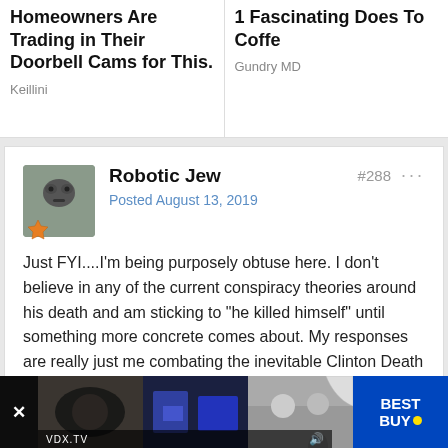Homeowners Are Trading in Their Doorbell Cams for This.
Keillini
1 Fascinating Does To Coffe
Gundry MD
Robotic Jew
Posted August 13, 2019
#288
Just FYI....I'm being purposely obtuse here. I don't believe in any of the current conspiracy theories around his death and am sticking to "he killed himself" until something more concrete comes about. My responses are really just me combating the inevitable Clinton Death Count nonsense with the same type of no evidence nonsense.
Top
2
1